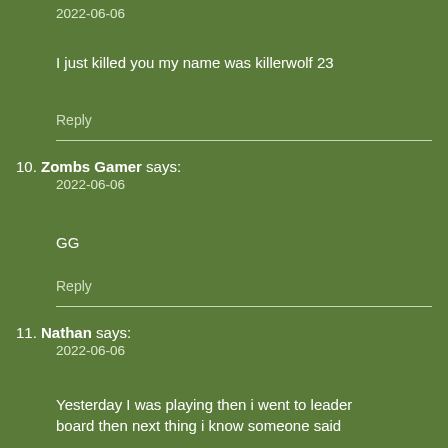2022-06-06
I just killed you my name was killerwolf 23
Reply
10. Zombs Gamer says:
2022-06-06
GG
Reply
11. Nathan says:
2022-06-06
Yesterday I was playing then i went to leader board then next thing i know someone said